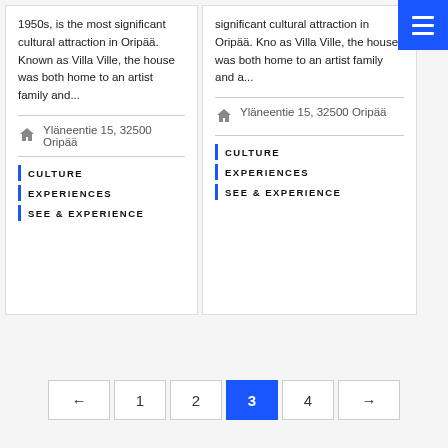1950s, is the most significant cultural attraction in Oripää. Known as Villa Ville, the house was both home to an artist family and...
Yläneentie 15, 32500 Oripää
CULTURE
EXPERIENCES
SEE & EXPERIENCE
significant cultural attraction in Oripää. Kno as Villa Ville, the house was both home to an artist family and a...
Yläneentie 15, 32500 Oripää
CULTURE
EXPERIENCES
SEE & EXPERIENCE
← 1 2 3 4 →